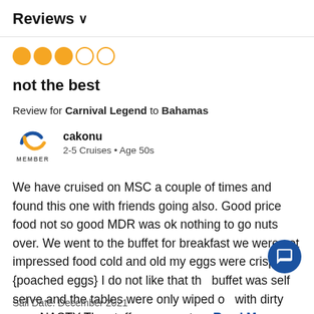Reviews ∨
[Figure (other): Star rating: 3 out of 5 filled orange circles, 2 empty circles]
not the best
Review for Carnival Legend to Bahamas
[Figure (logo): Carnival cruise member logo with blue and orange arc, labeled MEMBER]
cakonu
2-5 Cruises • Age 50s
We have cruised on MSC a couple of times and found this one with friends going also. Good price food not so good MDR was ok nothing to go nuts over. We went to the buffet for breakfast we were not impressed food cold and old my eggs were crispy {poached eggs} I do not like that the buffet was self serve and the tables were only wiped on with dirty rags NASTY The staff were great. ... Read More